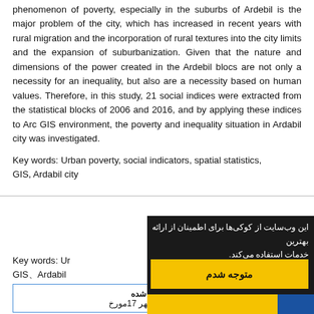phenomenon of poverty, especially in the suburbs of Ardebil is the major problem of the city, which has increased in recent years with rural migration and the incorporation of rural textures into the city limits and the expansion of suburbanization. Given that the nature and dimensions of the power created in the Ardebil blocs are not only a necessity for an inequality, but also are a necessity based on human values. Therefore, in this study, 21 social indices were extracted from the statistical blocks of 2006 and 2016, and by applying these indices to Arc GIS environment, the poverty and inequality situation in Ardabil city was investigated.
Key words: Urban poverty, social indicators, spatial statistics, GIS, Ardabil city
Key words: Urban poverty, social indicators, spatial statistics, GIS, Ardabil city
[Figure (screenshot): Cookie consent popup overlay in Persian (Farsi) on dark background with yellow confirm button labeled متوجه شدم]
پذیرفته شده
1400 مهر 17مورخ